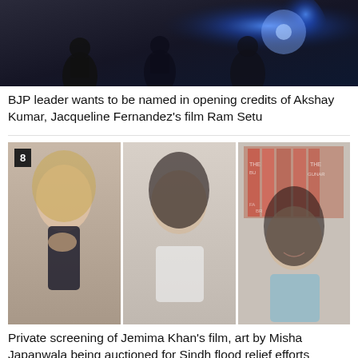[Figure (photo): Dark scene with people and blue light, related to film Ram Setu]
BJP leader wants to be named in opening credits of Akshay Kumar, Jacqueline Fernandez's film Ram Setu
[Figure (photo): Three women side by side: Jemima Khan, Misha Japanwala, and another woman in blue top, with badge number 8]
Private screening of Jemima Khan's film, art by Misha Japanwala being auctioned for Sindh flood relief efforts
[Figure (photo): Partial image with badge number 9, showing beginning of another article]